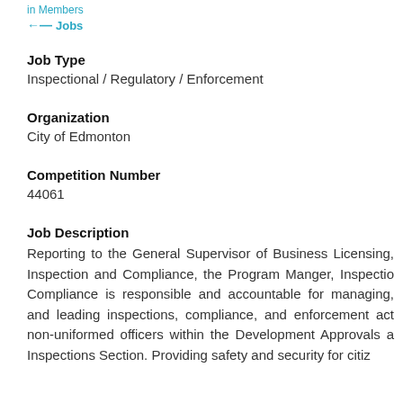in Members
← Jobs
Job Type
Inspectional / Regulatory / Enforcement
Organization
City of Edmonton
Competition Number
44061
Job Description
Reporting to the General Supervisor of Business Licensing, Inspection and Compliance, the Program Manger, Inspection Compliance is responsible and accountable for managing, and leading inspections, compliance, and enforcement activities non-uniformed officers within the Development Approvals and Inspections Section. Providing safety and security for citi...